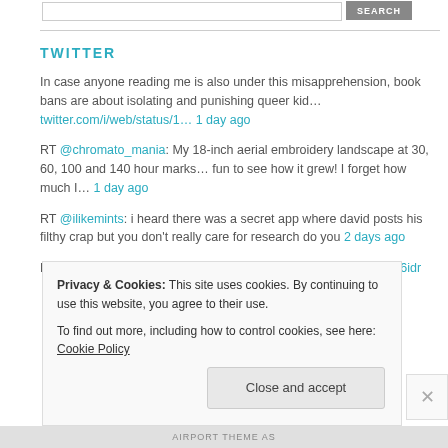[Figure (screenshot): Search bar with input field and SEARCH button]
TWITTER
In case anyone reading me is also under this misapprehension, book bans are about isolating and punishing queer kid… twitter.com/i/web/status/1… 1 day ago
RT @chromato_mania: My 18-inch aerial embroidery landscape at 30, 60, 100 and 140 hour marks… fun to see how it grew! I forget how much I… 1 day ago
RT @ilikemints: i heard there was a secret app where david posts his filthy crap but you don't really care for research do you 2 days ago
RT @waDNR: Graphic design is my passion. https://t.co/xXiXWR6idr 2 days ago
Privacy & Cookies: This site uses cookies. By continuing to use this website, you agree to their use. To find out more, including how to control cookies, see here: Cookie Policy
Close and accept